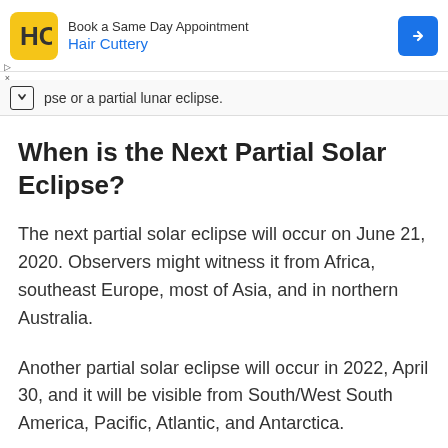[Figure (other): Advertisement banner for Hair Cuttery with logo, text, and navigation arrow]
pse or a partial lunar eclipse.
When is the Next Partial Solar Eclipse?
The next partial solar eclipse will occur on June 21, 2020. Observers might witness it from Africa, southeast Europe, most of Asia, and in northern Australia.
Another partial solar eclipse will occur in 2022, April 30, and it will be visible from South/West South America, Pacific, Atlantic, and Antarctica.
When is the Next Partial Lu...